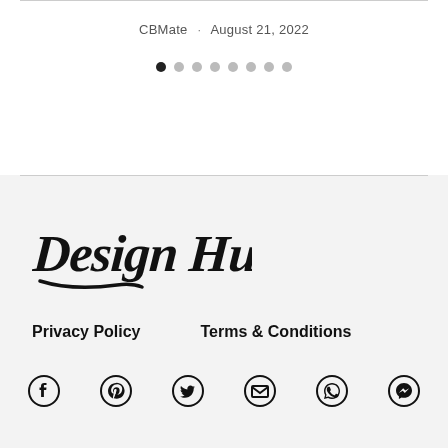CBMate · August 21, 2022
[Figure (other): Pagination dots navigation — 8 dots, first dot filled/active, rest grey]
[Figure (logo): Design Hunt logo in bold italic brush/handwritten style]
Privacy Policy     Terms & Conditions
[Figure (other): Social media icons row: Facebook, Pinterest, Twitter, Email, WhatsApp, Messenger]